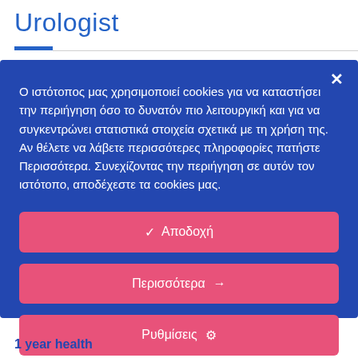Urologist
Ο ιστότοπος μας χρησιμοποιεί cookies για να καταστήσει την περιήγηση όσο το δυνατόν πιο λειτουργική και για να συγκεντρώνει στατιστικά στοιχεία σχετικά με τη χρήση της. Αν θέλετε να λάβετε περισσότερες πληροφορίες πατήστε Περισσότερα. Συνεχίζοντας την περιήγηση σε αυτόν τον ιστότοπο, αποδέχεστε τα cookies μας.
✓ Αποδοχή
Περισσότερα →
Ρυθμίσεις ⚙
1 year health